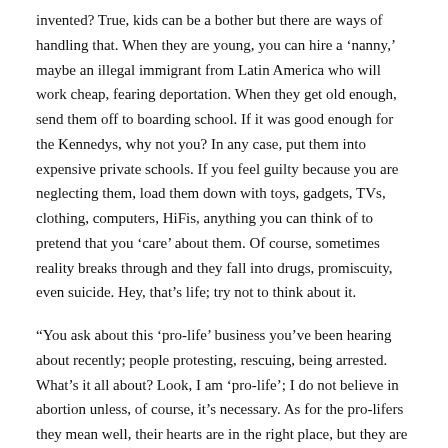invented? True, kids can be a bother but there are ways of handling that. When they are young, you can hire a ‘nanny,’ maybe an illegal immigrant from Latin America who will work cheap, fearing deportation. When they get old enough, send them off to boarding school. If it was good enough for the Kennedys, why not you? In any case, put them into expensive private schools. If you feel guilty because you are neglecting them, load them down with toys, gadgets, TVs, clothing, computers, HiFis, anything you can think of to pretend that you ‘care’ about them. Of course, sometimes reality breaks through and they fall into drugs, promiscuity, even suicide. Hey, that’s life; try not to think about it.
“You ask about this ‘pro-life’ business you’ve been hearing about recently; people protesting, rescuing, being arrested. What’s it all about? Look, I am ‘pro-life’; I do not believe in abortion unless, of course, it’s necessary. As for the pro-lifers they mean well, their hearts are in the right place, but they are breaking the law. We simply cannot permit that! The law is the law and it MUST be obeyed! Much as I sympathize with them—they are, as I say, well-